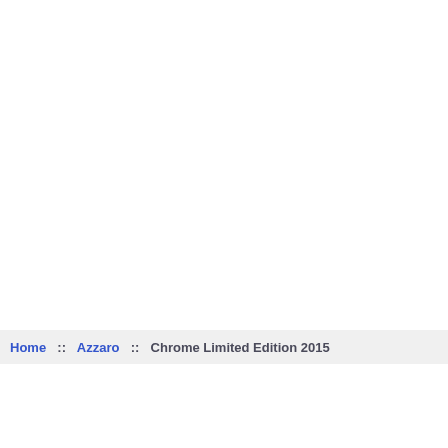Home :: Azzaro :: Chrome Limited Edition 2015